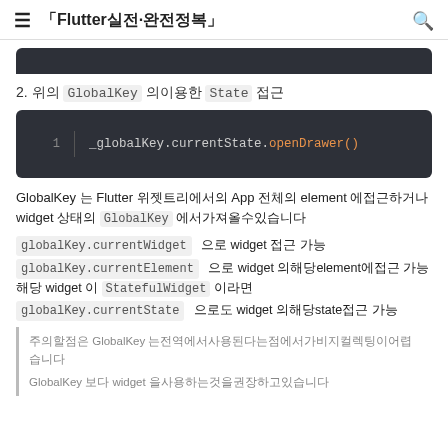☰ 「Flutter실전·완전정복」
[Figure (screenshot): Dark code block (top portion, cropped)]
2. 위의 GlobalKey 의이용한 State 접근
[Figure (screenshot): Dark code block showing: _globalKey.currentState.openDrawer()]
GlobalKey 는 Flutter 위젯트리에서의 App 전체의 element 에접근하거나 widget 상태의 GlobalKey 에서가져올수있습니다
globalKey.currentWidget  으로 widget 접근 가능
globalKey.currentElement  으로 widget 의해당element에접근 가능 해당 widget 이 StatefulWidget 이라면
globalKey.currentState  으로도 widget 의해당state접근 가능
주의할점은 GlobalKey 는전역에서사용된다는점에서가비지컬렉팅이어렵습니다 GlobalKey 보다 widget 을사용하는것을권장하고있습니다